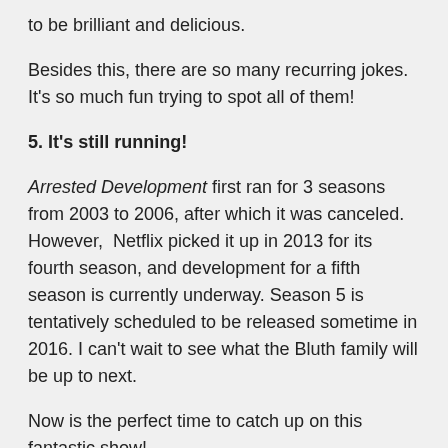to be brilliant and delicious.
Besides this, there are so many recurring jokes. It's so much fun trying to spot all of them!
5. It's still running!
Arrested Development first ran for 3 seasons from 2003 to 2006, after which it was canceled. However, Netflix picked it up in 2013 for its fourth season, and development for a fifth season is currently underway. Season 5 is tentatively scheduled to be released sometime in 2016. I can't wait to see what the Bluth family will be up to next.
Now is the perfect time to catch up on this fantastic show!